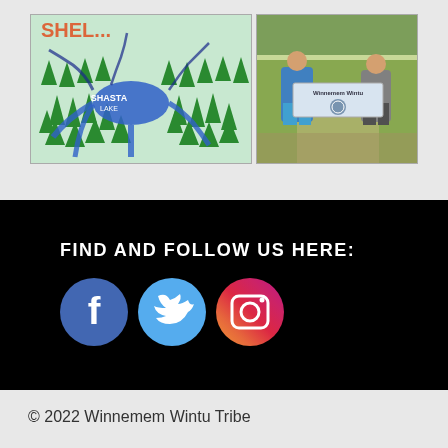[Figure (photo): Two-panel photo: left shows a painted map/illustration of Shasta Lake with trees and rivers; right shows two children holding a Winnemem Wintu banner outdoors.]
FIND AND FOLLOW US HERE:
[Figure (infographic): Three social media icons: Facebook (blue circle with f), Twitter (blue circle with bird), Instagram (gradient circle with camera).]
© 2022 Winnemem Wintu Tribe